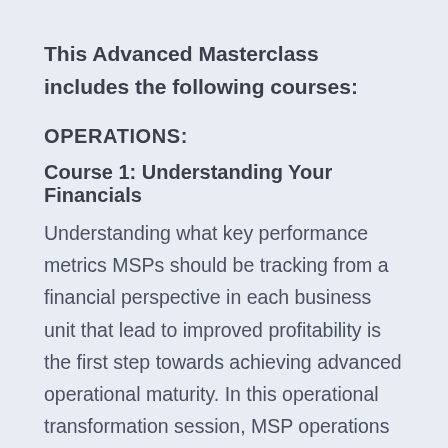This Advanced Masterclass includes the following courses:
OPERATIONS:
Course 1: Understanding Your Financials
Understanding what key performance metrics MSPs should be tracking from a financial perspective in each business unit that lead to improved profitability is the first step towards achieving advanced operational maturity. In this operational transformation session, MSP operations expert Erick Simpson breaks down key financial principles and concepts to lay the foundation for profitable business operations.